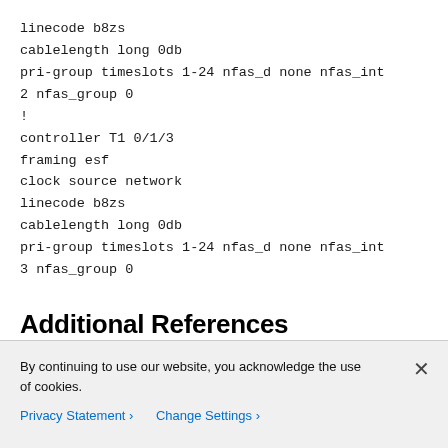linecode b8zs
cablelength long 0db
pri-group timeslots 1-24 nfas_d none nfas_int
2 nfas_group 0
!
controller T1 0/1/3
framing esf
clock source network
linecode b8zs
cablelength long 0db
pri-group timeslots 1-24 nfas_d none nfas_int
3 nfas_group 0
Additional References
By continuing to use our website, you acknowledge the use of cookies.
Privacy Statement > Change Settings >